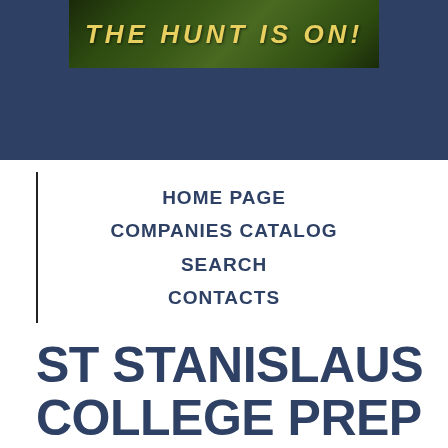[Figure (photo): Banner image with dark forest/foliage background and golden italic text reading 'THE HUNT IS ON!' on a dark navy background]
HOME PAGE
COMPANIES CATALOG
SEARCH
CONTACTS
ST STANISLAUS COLLEGE PREP